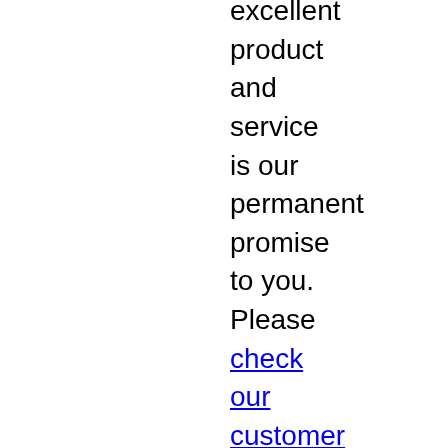excellent product and service is our permanent promise to you. Please check our customer feedbacks. We have 30 days money back guarantee and 1 year replacement warranty. It is very easy for you to return the battery.